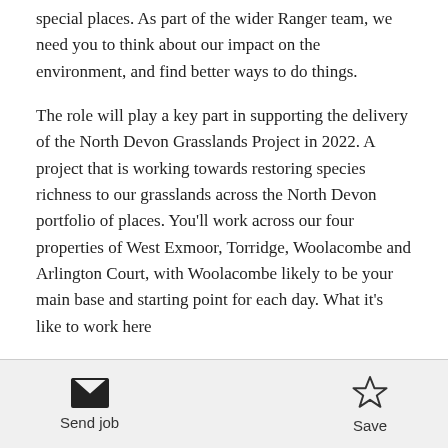special places. As part of the wider Ranger team, we need you to think about our impact on the environment, and find better ways to do things.
The role will play a key part in supporting the delivery of the North Devon Grasslands Project in 2022. A project that is working towards restoring species richness to our grasslands across the North Devon portfolio of places. You'll work across our four properties of West Exmoor, Torridge, Woolacombe and Arlington Court, with Woolacombe likely to be your main base and starting point for each day. What it's like to work here
Send job   Save